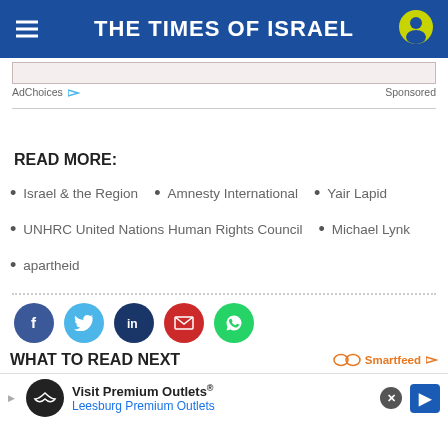THE TIMES OF ISRAEL
[Figure (screenshot): Advertisement banner strip with AdChoices label and Sponsored text]
READ MORE:
Israel & the Region
Amnesty International
Yair Lapid
UNHRC United Nations Human Rights Council
Michael Lynk
apartheid
[Figure (infographic): Social sharing icons: Facebook, Twitter, LinkedIn, Email, WhatsApp]
WHAT TO READ NEXT
[Figure (screenshot): Bottom advertisement: Visit Premium Outlets - Leesburg Premium Outlets, with Smartfeed branding and close button]